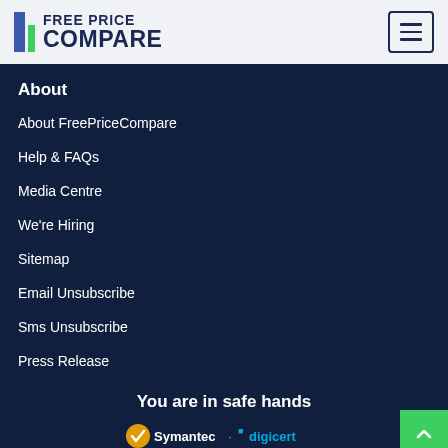FREE PRICE COMPARE
About
About FreePriceCompare
Help & FAQs
Media Centre
We're Hiring
Sitemap
Email Unsubscribe
Sms Unsubscribe
Press Release
You are in safe hands
[Figure (logo): Symantec and DigiCert trust logos]